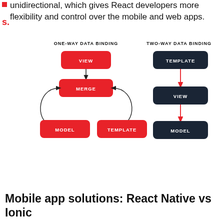unidirectional, which gives React developers more flexibility and control over the mobile and web apps.
[Figure (flowchart): Two diagrams side by side. Left: ONE-WAY DATA BINDING flowchart with red rounded rectangles: VIEW at top connected by arrow down to MERGE, and two curved arrows from MODEL and TEMPLATE back into MERGE, with MODEL and TEMPLATE at the bottom. Right: TWO-WAY DATA BINDING flowchart with dark navy rounded rectangles: TEMPLATE at top, arrow down to VIEW, arrow down to MODEL.]
Mobile app solutions: React Native vs Ionic